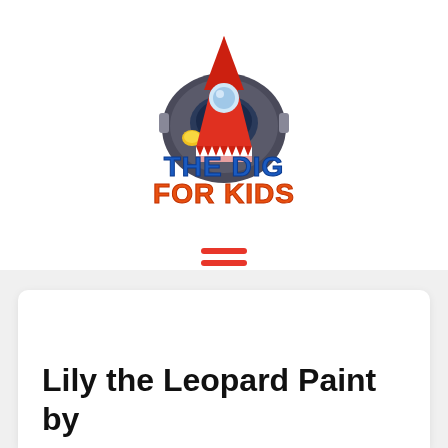[Figure (logo): The Dig For Kids logo featuring a rocket ship with a shark mouth design, a robot/astronaut helmet behind it, and bold stylized text reading THE DIG FOR KIDS in blue and orange colors]
[Figure (other): Hamburger menu icon consisting of three horizontal red/orange lines]
Lily the Leopard Paint by